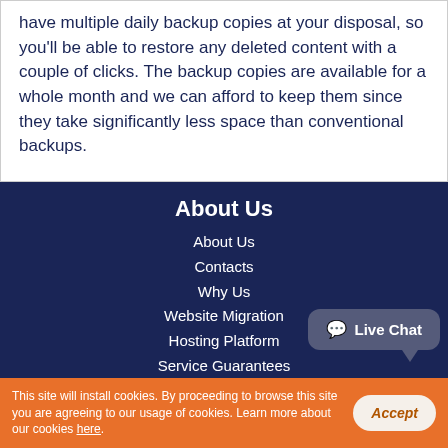have multiple daily backup copies at your disposal, so you'll be able to restore any deleted content with a couple of clicks. The backup copies are available for a whole month and we can afford to keep them since they take significantly less space than conventional backups.
About Us
About Us
Contacts
Why Us
Website Migration
Hosting Platform
Service Guarantees
Videos
This site will install cookies. By proceeding to browse this site you are agreeing to our usage of cookies. Learn more about our cookies here.